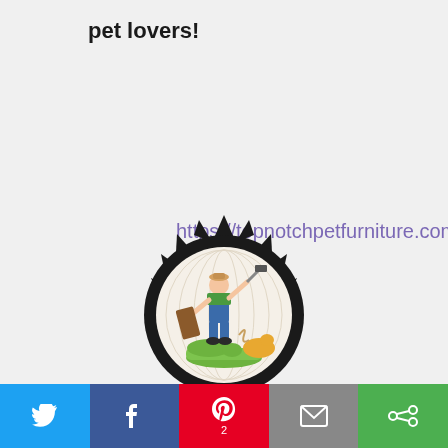pet lovers!
https://topnotchpetfurniture.com/
[Figure (logo): Circular saw-blade shaped logo with a craftsman holding a plank and hammer, a cat and decorative pet furniture inside, on a wood-grain background]
Twitter | Facebook | Pinterest (2) | Email | Share